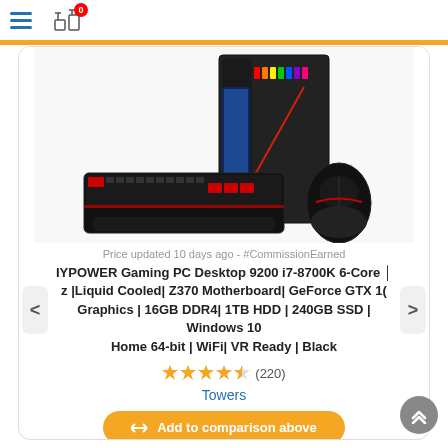Navigation menu and compare icon (0 items)
[Figure (photo): Gaming PC desktop tower with RGB lighting, accompanied by a gaming keyboard and gaming mouse, product photo on white background]
Price updated 10 days ago - #CommissionEarned
IYPOWER Gaming PC Desktop 9200 i7-8700K 6-Core │z |Liquid Cooled| Z370 Motherboard| GeForce GTX 1( Graphics | 16GB DDR4| 1TB HDD | 240GB SSD | Windows 10 Home 64-bit | WiFi| VR Ready | Black
★★★★½ (220)
Towers
⇄ Add to comparison above